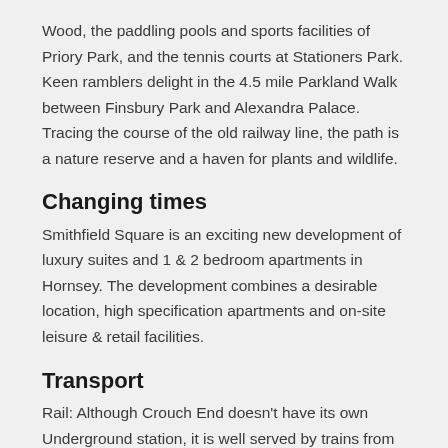Wood, the paddling pools and sports facilities of Priory Park, and the tennis courts at Stationers Park. Keen ramblers delight in the 4.5 mile Parkland Walk between Finsbury Park and Alexandra Palace. Tracing the course of the old railway line, the path is a nature reserve and a haven for plants and wildlife.
Changing times
Smithfield Square is an exciting new development of luxury suites and 1 & 2 bedroom apartments in Hornsey. The development combines a desirable location, high specification apartments and on-site leisure & retail facilities.
Transport
Rail: Although Crouch End doesn't have its own Underground station, it is well served by trains from